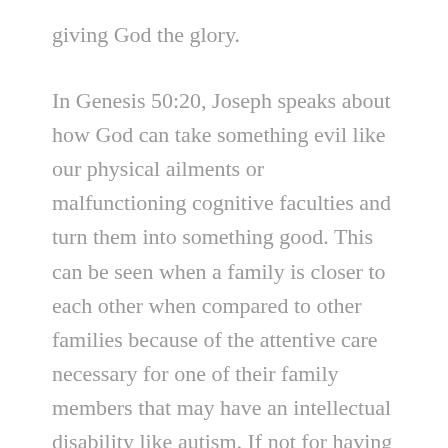giving God the glory.
In Genesis 50:20, Joseph speaks about how God can take something evil like our physical ailments or malfunctioning cognitive faculties and turn them into something good. This can be seen when a family is closer to each other when compared to other families because of the attentive care necessary for one of their family members that may have an intellectual disability like autism. If not for having a family member with said disability, there are many families that would probably be more distant to both each other and God. Like usual, God